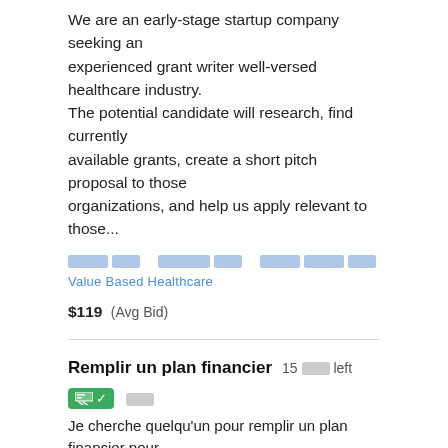We are an early-stage startup company seeking an experienced grant writer well-versed healthcare industry. The potential candidate will research, find currently available grants, create a short pitch proposal to those organizations, and help us apply relevant to those...
[tags] [redacted] [redacted] [redacted] Value Based Healthcare
$119  (Avg Bid)
Remplir un plan financier  15 [redacted] left  [badge] [redacted]
Je cherche quelqu'un pour remplir un plan financier pour un business plan.
[tags] [redacted] [redacted] [redacted] [redacted]
$119  (Avg Bid)
Grant Writing Assistance  4 [redacted] left